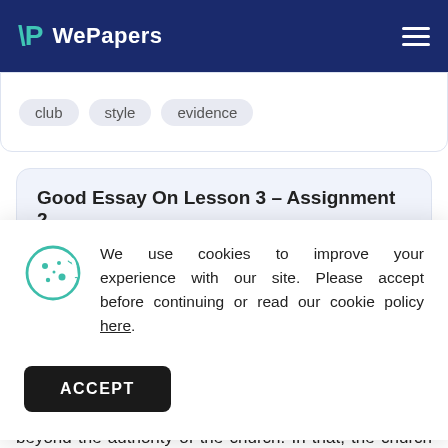WePapers
club  style  evidence
Good Essay On Lesson 3 – Assignment 2
We use cookies to improve your experience with our site. Please accept before continuing or read our cookie policy here.
ACCEPT
Descartes was an interesting case because he was Catholic and he believed that knowledge extended beyond the authority of the church. In that, the church did not dictate to them what it...